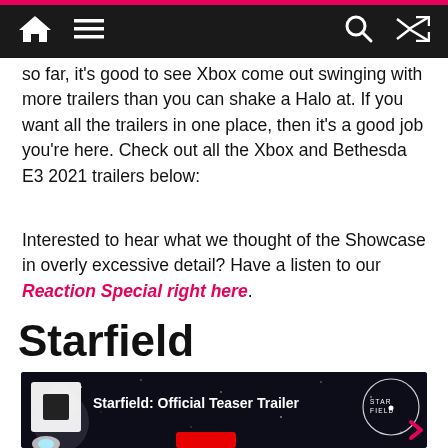Navigation bar with home, menu, search, and shuffle icons
so far, it's good to see Xbox come out swinging with more trailers than you can shake a Halo at. If you want all the trailers in one place, then it's a good job you're here. Check out all the Xbox and Bethesda E3 2021 trailers below:
Interested to hear what we thought of the Showcase in overly excessive detail? Have a listen to our Reaction Special right here.
Starfield
[Figure (screenshot): Starfield: Official Teaser Trailer YouTube video thumbnail showing a figure in space armor with the Starfield logo and YouTube play button]